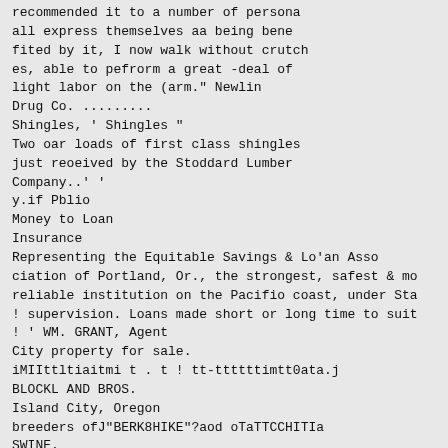recommended it to a number of persona
all express themselves aa being bene
fited by it, I now walk without crutch
es, able to pefrorm a great -deal of
light labor on the (arm." Newlin
Drug Co. .........
Shingles, ' Shingles "
Two oar loads of first class shingles
just reoeived by the Stoddard Lumber
Company..' '
y.if Pblio
Money to Loan
Insurance
Representing the Equitable Savings & Lo'an Asso
ciation of Portland, Or., the strongest, safest & mo
reliable institution on the Pacifio coast, under Sta
! supervision. Loans made short or long time to suit
! ' WM. GRANT, Agent
City property for sale.
iMIIttltiaitmi t . t ! tt-ttttttimtt0ata.j
BLOCKL AND BROS.
Island City, Oregon
breeders ofJ"BERK8HIKE"?aod oTaTTCCHITIa
SWINE.